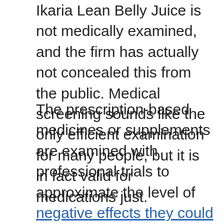Ikaria Lean Belly Juice is not medically examined, and the firm has actually not concealed this from the public. Medical screening sounds like the only efficient examination for many people, but it is in fact valid for medications just.
The prescription-based medicines or supplements are examined with professional trials to approximate the level of negative effects they could be providing. It is rare for all-natural items to use adverse effects, which is why medical testing is not needed if the product makes use of just herbal essences inside.
The firm, nonetheless, states that it follows set screening for high quality and also security to make sure that no customer needs to experience